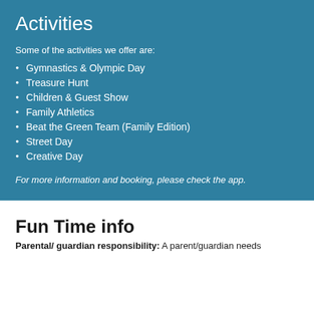Activities
Some of the activities we offer are:
Gymnastics & Olympic Day
Treasure Hunt
Children & Guest Show
Family Athletics
Beat the Green Team (Family Edition)
Street Day
Creative Day
For more information and booking, please check the app.
Fun Time info
Parental/ guardian responsibility: A parent/guardian needs